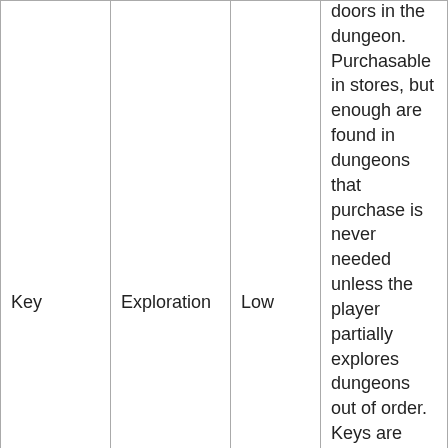| Key | Exploration | Low | ...doors in the dungeon. Purchasable in stores, but enough are found in dungeons that purchase is never needed unless the player partially explores dungeons out of order. Keys are needed to complete the game, but not every door need be unlocked. |